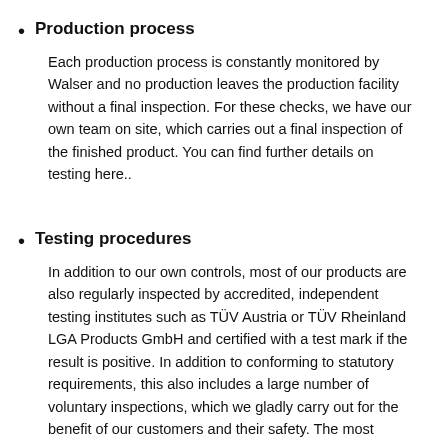Production process
Each production process is constantly monitored by Walser and no production leaves the production facility without a final inspection. For these checks, we have our own team on site, which carries out a final inspection of the finished product. You can find further details on testing here..
Testing procedures
In addition to our own controls, most of our products are also regularly inspected by accredited, independent testing institutes such as TÜV Austria or TÜV Rheinland LGA Products GmbH and certified with a test mark if the result is positive. In addition to conforming to statutory requirements, this also includes a large number of voluntary inspections, which we gladly carry out for the benefit of our customers and their safety. The most